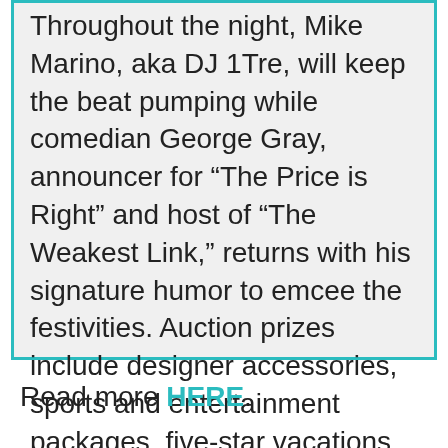Throughout the night, Mike Marino, aka DJ 1Tre, will keep the beat pumping while comedian George Gray, announcer for “The Price is Right” and host of “The Weakest Link,” returns with his signature humor to emcee the festivities. Auction prizes include designer accessories, sports and entertainment packages, five-star vacations, cruises and staycations.
Read more HERE.